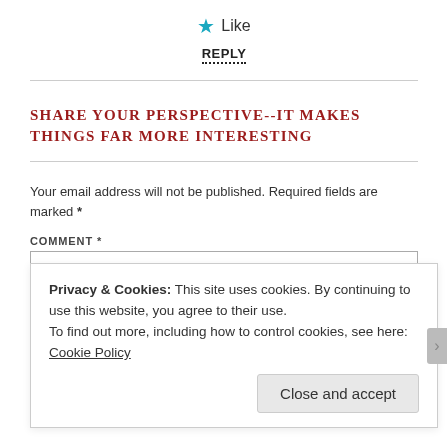★ Like
REPLY
SHARE YOUR PERSPECTIVE--IT MAKES THINGS FAR MORE INTERESTING
Your email address will not be published. Required fields are marked *
COMMENT *
Privacy & Cookies: This site uses cookies. By continuing to use this website, you agree to their use.
To find out more, including how to control cookies, see here: Cookie Policy
Close and accept